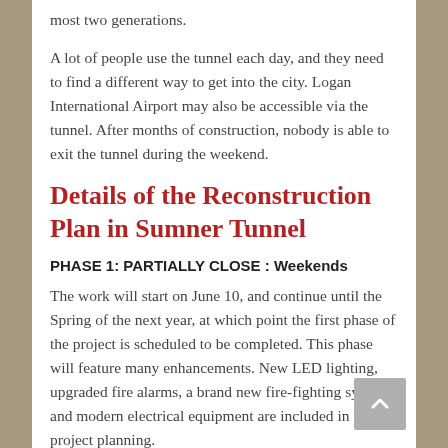most two generations.
A lot of people use the tunnel each day, and they need to find a different way to get into the city. Logan International Airport may also be accessible via the tunnel. After months of construction, nobody is able to exit the tunnel during the weekend.
Details of the Reconstruction Plan in Sumner Tunnel
PHASE 1: PARTIALLY CLOSE : Weekends
The work will start on June 10, and continue until the Spring of the next year, at which point the first phase of the project is scheduled to be completed. This phase will feature many enhancements. New LED lighting, upgraded fire alarms, a brand new fire-fighting system, and modern electrical equipment are included in the project planning.